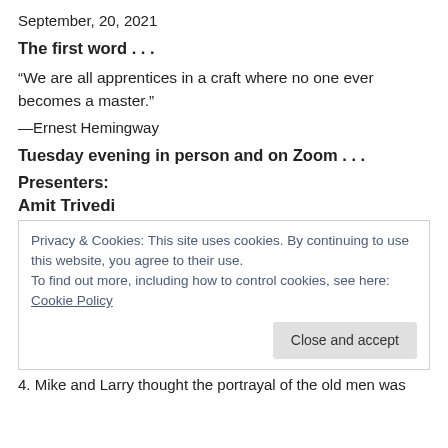September, 20, 2021
The first word . . .
“We are all apprentices in a craft where no one ever becomes a master.”
—Ernest Hemingway
Tuesday evening in person and on Zoom . . .
Presenters:
Amit Trivedi
Privacy & Cookies: This site uses cookies. By continuing to use this website, you agree to their use.
To find out more, including how to control cookies, see here: Cookie Policy
[Close and accept]
4. Mike and Larry thought the portrayal of the old men was